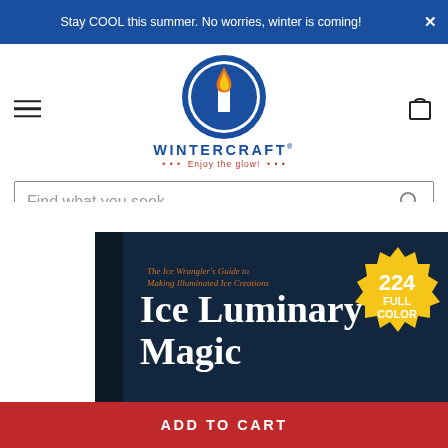Stay COOL this summer. No worries, winter is coming!
[Figure (logo): Wintercraft logo: circular blue emblem with flame and candle, text WINTERCRAFT with tagline Enjoy the glow!]
Find what you seek
[Figure (photo): Ice Luminary Magic book cover showing a dark winter scene with the text: The Ice Wrangler's Guide to Making Illuminated Ice Creations — Ice Luminary Magic, 224 FULL COLOR pages badge]
ADD TO CART